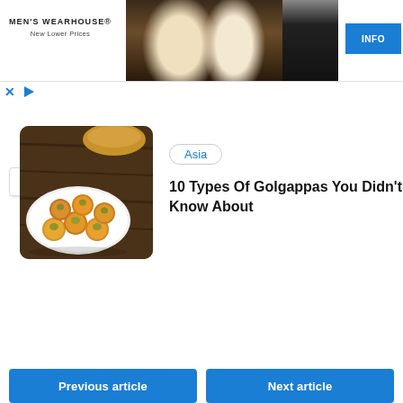[Figure (screenshot): Men's Wearhouse advertisement banner with couple in formal wear and a man in tuxedo, with INFO button]
[Figure (photo): Food photo showing golgappas (puri/pani puri) on a white plate with a basket of bread in the background]
Asia
10 Types Of Golgappas You Didn't Know About
Previous article
Next article